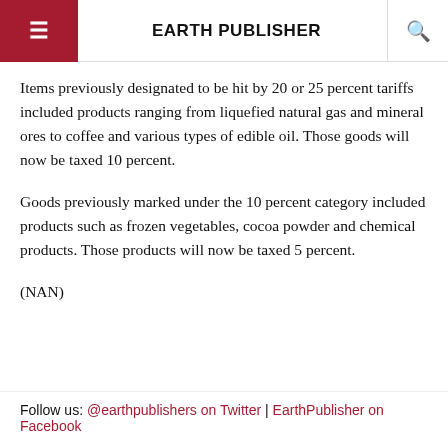EARTH PUBLISHER
Items previously designated to be hit by 20 or 25 percent tariffs included products ranging from liquefied natural gas and mineral ores to coffee and various types of edible oil. Those goods will now be taxed 10 percent.
Goods previously marked under the 10 percent category included products such as frozen vegetables, cocoa powder and chemical products. Those products will now be taxed 5 percent.
(NAN)
Follow us: @earthpublishers on Twitter | EarthPublisher on Facebook